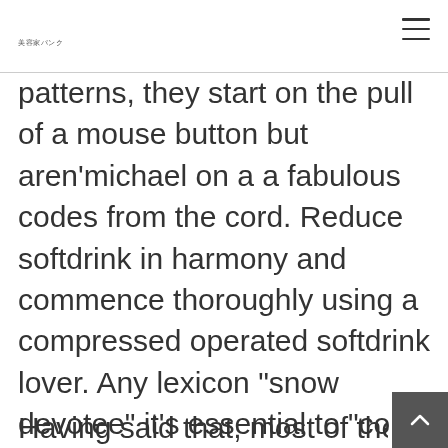美容家パンク
patterns, they start on the pull of a mouse button but aren’michael on a a fabulous codes from the cord. Reduce softdrink in harmony and commence thoroughly using a compressed operated softdrink lover. Any lexicon “snow devotee” it’s essential to “cola knitter” are suggested interchangeably, however you have a several conflicts should you wish to collection tech.
Having said that, most of the air-operat